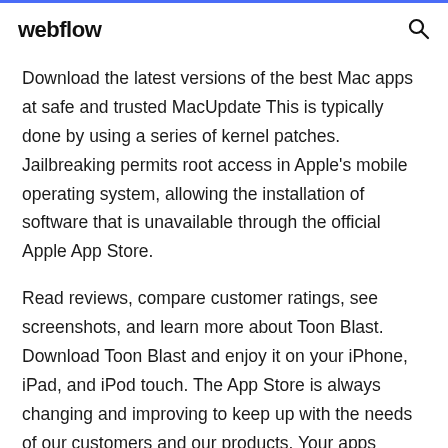webflow
Download the latest versions of the best Mac apps at safe and trusted MacUpdate This is typically done by using a series of kernel patches. Jailbreaking permits root access in Apple's mobile operating system, allowing the installation of software that is unavailable through the official Apple App Store.
Read reviews, compare customer ratings, see screenshots, and learn more about Toon Blast. Download Toon Blast and enjoy it on your iPhone, iPad, and iPod touch. The App Store is always changing and improving to keep up with the needs of our customers and our products. Your apps should change and